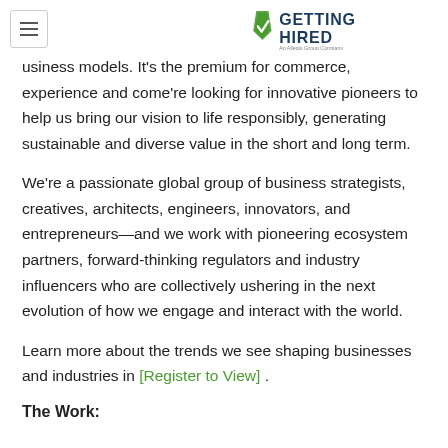Getting Hired – An Allegis Group Company
business models. It's the premium for commerce, experience and commerce. We're looking for innovative pioneers to help us bring our vision to life responsibly, generating sustainable and diverse value in the short and long term.
We're a passionate global group of business strategists, creatives, architects, engineers, innovators, and entrepreneurs—and we work with pioneering ecosystem partners, forward-thinking regulators and industry influencers who are collectively ushering in the next evolution of how we engage and interact with the world.
Learn more about the trends we see shaping businesses and industries in [Register to View] .
The Work: